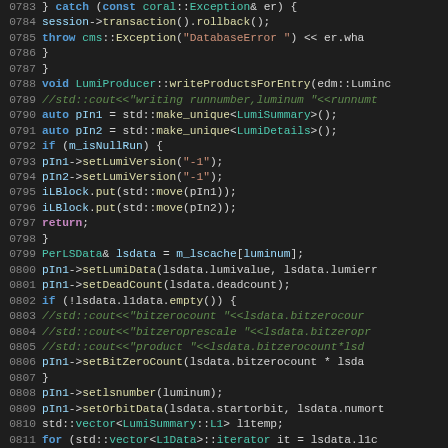[Figure (screenshot): Source code editor showing C++ code lines 0783-0812, dark background theme with syntax highlighting. Code is from a CMS/luminosity producer module.]